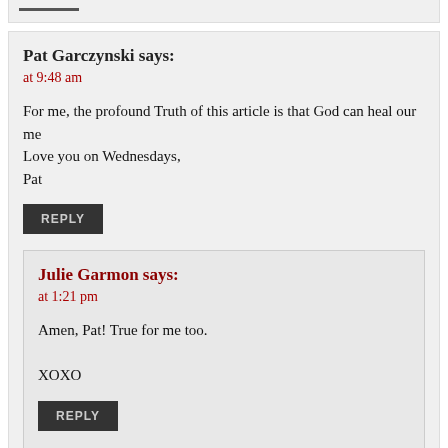Pat Garczynski says:
at 9:48 am
For me, the profound Truth of this article is that God can heal our me
Love you on Wednesdays,
Pat
REPLY
Julie Garmon says:
at 1:21 pm
Amen, Pat! True for me too.

XOXO
REPLY
Anna Haney says: